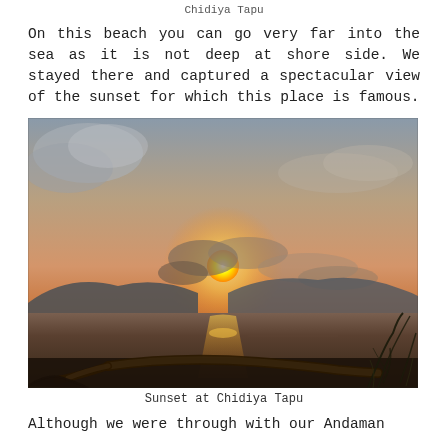Chidiya Tapu
On this beach you can go very far into the sea as it is not deep at shore side. We stayed there and captured a spectacular view of the sunset for which this place is famous.
[Figure (photo): Photograph of sunset at Chidiya Tapu beach, showing the sun setting over calm water with silhouettes of hills in the background and a driftwood log in the foreground, with warm orange and golden hues filling the sky.]
Sunset at Chidiya Tapu
Although we were through with our Andaman